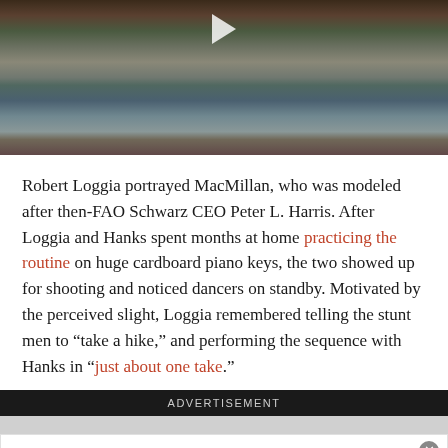[Figure (screenshot): Video thumbnail showing a crowd scene with people standing, play button visible at top center. Dark scene with multiple people in various colored clothing.]
Robert Loggia portrayed MacMillan, who was modeled after then-FAO Schwarz CEO Peter L. Harris. After Loggia and Hanks spent months at home practicing the routine on huge cardboard piano keys, the two showed up for shooting and noticed dancers on standby. Motivated by the perceived slight, Loggia remembered telling the stunt men to “take a hike,” and performing the sequence with Hanks in “just about one take.”
ADVERTISEMENT
[Figure (photo): Advertisement for HVAC Home Service showing hands planting in soil with yellow flowers. Ad includes title HVAC HOME SERVICE, description 'visit vanessaductwork.com/ to learn more', URL www.vanessaductwork.com, and a blue arrow button on the right.]